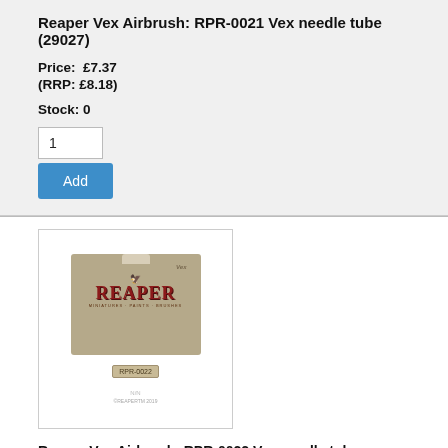Reaper Vex Airbrush: RPR-0021 Vex needle tube (29027)
Price:  £7.37
(RRP: £8.18)
Stock: 0
[Figure (photo): Product packaging for Reaper Vex airbrush part RPR-0022, showing Reaper brand logo card with wings emblem and SKU tag]
Reaper Vex Airbrush: RPR-0022 Vex needle tube nozzle...